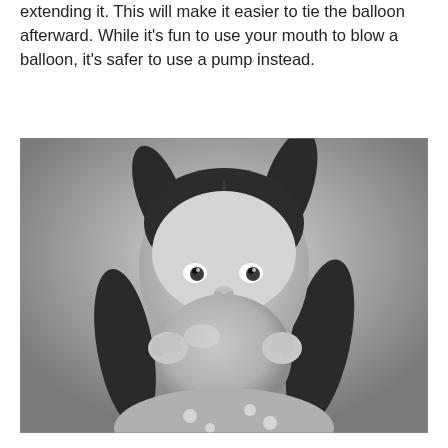extending it. This will make it easier to tie the balloon afterward. While it's fun to use your mouth to blow a balloon, it's safer to use a pump instead.
[Figure (photo): Black and white photograph of a young girl with pigtails blowing up a round balloon, holding it with both hands in front of her face.]